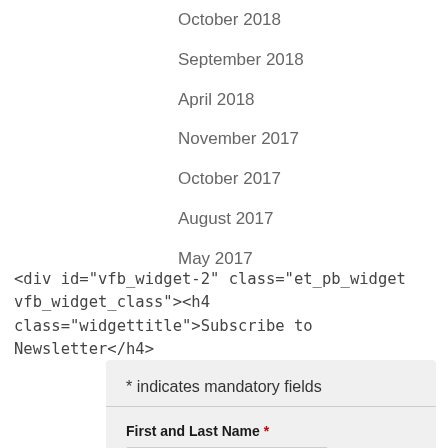October 2018
September 2018
April 2018
November 2017
October 2017
August 2017
May 2017
<div id="vfb_widget-2" class="et_pb_widget vfb_widget_class"><h4 class="widgettitle">Subscribe to Newsletter</h4>
* indicates mandatory fields
First and Last Name *